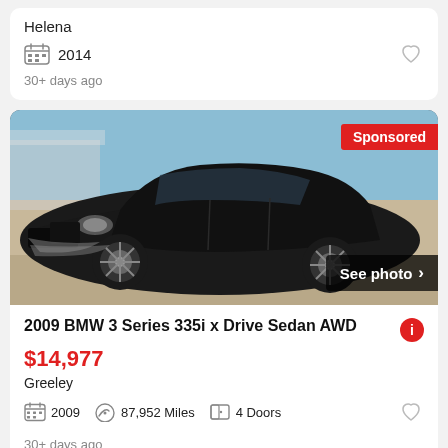Helena
2014
30+ days ago
[Figure (photo): Black BMW 3 Series sedan photographed from front-left angle outdoors, with a red Sponsored badge in top-right and a See photo button with arrow in bottom-right]
2009 BMW 3 Series 335i x Drive Sedan AWD
$14,977
Greeley
2009  87,952 Miles  4 Doors
30+ days ago